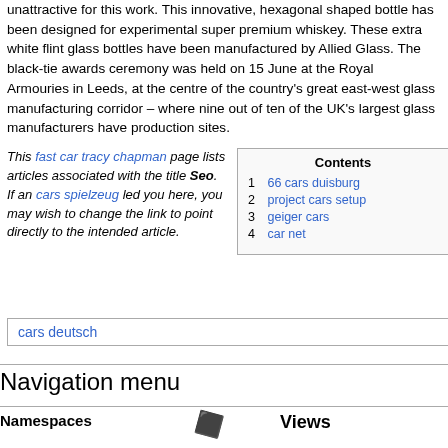unattractive for this work. This innovative, hexagonal shaped bottle has been designed for experimental super premium whiskey. These extra white flint glass bottles have been manufactured by Allied Glass. The black-tie awards ceremony was held on 15 June at the Royal Armouries in Leeds, at the centre of the country's great east-west glass manufacturing corridor – where nine out of ten of the UK's largest glass manufacturers have production sites.
This fast car tracy chapman page lists articles associated with the title Seo. If an cars spielzeug led you here, you may wish to change the link to point directly to the intended article.
| Contents |
| --- |
| 1 | 66 cars duisburg |
| 2 | project cars setup |
| 3 | geiger cars |
| 4 | car net |
cars deutsch
Navigation menu
Namespaces
Views